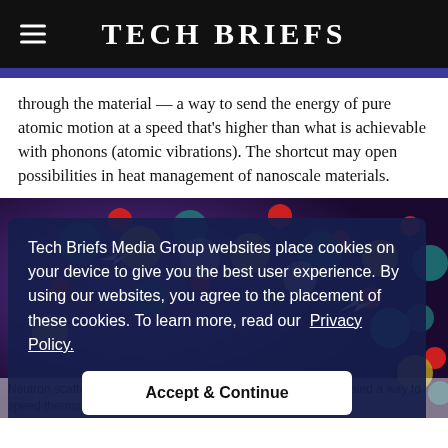Tech Briefs
through the material — a way to send the energy of pure atomic motion at a speed that's higher than what is achievable with phonons (atomic vibrations). The shortcut may open possibilities in heat management of nanoscale materials.
[Figure (photo): Artistic molecular crystal illustration with colorful spheres and arrows overlaid with a cookie consent dialog. The dialog reads: 'Tech Briefs Media Group websites place cookies on your device to give you the best user experience. By using our websites, you agree to the placement of these cookies. To learn more, read our Privacy Policy.' with an 'Accept & Continue' button.]
Neutron scattering study of a barium oxide phononic crystal revealed a way to speed thermal conduction. (Image: ORNL graphic artist